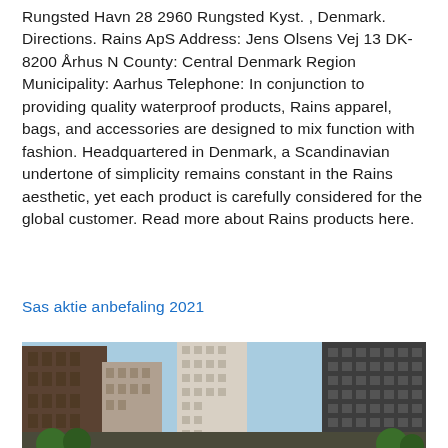Rungsted Havn 28 2960 Rungsted Kyst. , Denmark. Directions. Rains ApS Address: Jens Olsens Vej 13 DK-8200 Århus N County: Central Denmark Region Municipality: Aarhus Telephone: In conjunction to providing quality waterproof products, Rains apparel, bags, and accessories are designed to mix function with fashion. Headquartered in Denmark, a Scandinavian undertone of simplicity remains constant in the Rains aesthetic, yet each product is carefully considered for the global customer. Read more about Rains products here.
Sas aktie anbefaling 2021
[Figure (photo): Street-level view of tall urban buildings and skyscrapers with a blue sky visible between them, with green trees at the bottom corners.]